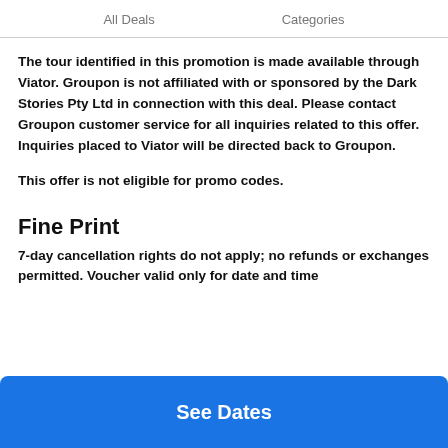All Deals   Categories
The tour identified in this promotion is made available through Viator. Groupon is not affiliated with or sponsored by the Dark Stories Pty Ltd in connection with this deal. Please contact Groupon customer service for all inquiries related to this offer. Inquiries placed to Viator will be directed back to Groupon.
This offer is not eligible for promo codes.
Fine Print
7-day cancellation rights do not apply; no refunds or exchanges permitted. Voucher valid only for date and time
See Dates